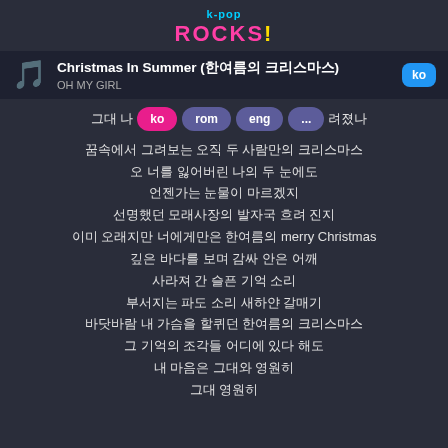k-pop ROCKS!
Christmas In Summer (한여름의 크리스마스) — OH MY GIRL
[Figure (screenshot): Language selector buttons: ko (pink), rom (purple), eng (purple), ... (purple)]
그대 나 [partially obscured] 려졌나
꿈속에서 그려보는 오직 두 사람만의 크리스마스
오 너를 잃어버린 나의 두 눈에도
언젠가는 눈물이 마르겠지
선명했던 모래사장의 발자국 흐려 진지
이미 오래지만 너에게만은 한여름의 merry Christmas
깊은 바다를 보며 감싸 안은 어깨
사라져 간 슬픈 기억 소리
부서지는 파도 소리 새하얀 갈매기
바닷바람 내 가슴을 할퀴던 한여름의 크리스마스
그 기억의 조각들 어디에 있다 해도
내 마음은 그대와 영원히
그대 영원히